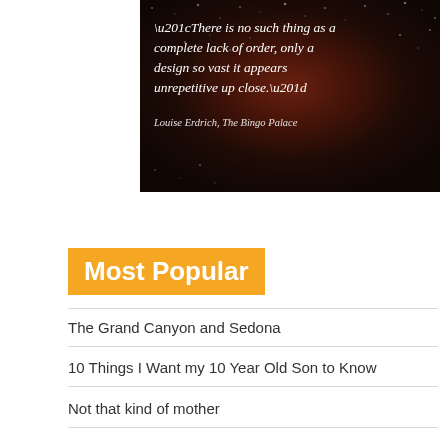[Figure (photo): Dark sparkly fireworks or night sky background with an overlaid quote in white italic serif text. Quote reads: “There is no such thing as a complete lack of order, only a design so vast it appears unrepetitive up close.” attributed to Louise Erdrich, The Bingo Palace.]
Most Popular
The Grand Canyon and Sedona
10 Things I Want my 10 Year Old Son to Know
Not that kind of mother
What they’ve taught me
This is thirty eight
Let go … again, still, more